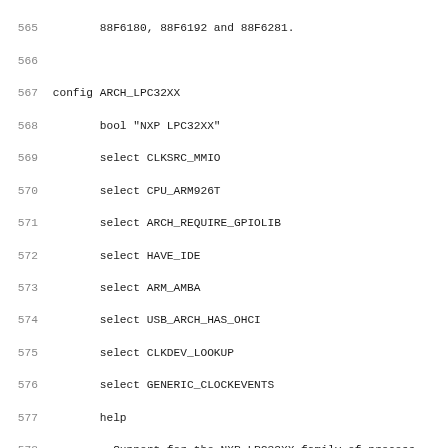Source code / Kconfig file lines 565-597 showing config entries for ARCH_LPC32XX, ARCH_MV78XX0, and ARCH_ORION5X